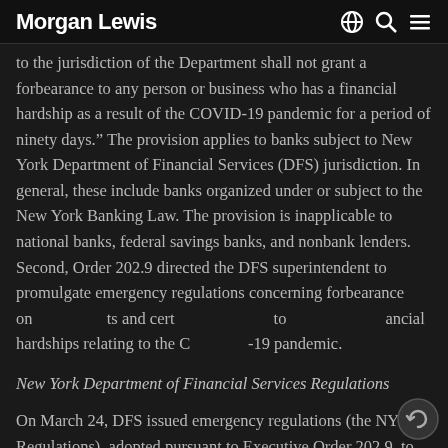Morgan Lewis
to the jurisdiction of the Department shall not grant a forbearance to any person or business who has a financial hardship as a result of the COVID-19 pandemic for a period of ninety days.” The provision applies to banks subject to New York Department of Financial Services (DFS) jurisdiction. In general, these include banks organized under or subject to the New York Banking Law. The provision is inapplicable to national banks, federal savings banks, and nonbank lenders. Second, Order 202.9 directed the DFS superintendent to promulgate emergency regulations concerning forbearance on [mortgage] loans and certain [other] loans to persons experiencing financial hardships relating to the COVID-19 pandemic.
New York Department of Financial Services Regulations
On March 24, DFS issued emergency regulations (the NY Regulations), adopted pursuant to Executive Order 202.9, to address these two areas. The NY Regulations require that, through April 20, 2020,